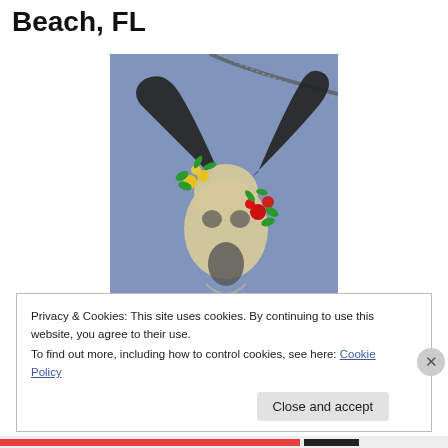Beach, FL
[Figure (photo): Photo of denim fabric with a painted bull skull decorated with colorful flowers (yellow and red blooms with green leaves)]
Privacy & Cookies: This site uses cookies. By continuing to use this website, you agree to their use.
To find out more, including how to control cookies, see here: Cookie Policy